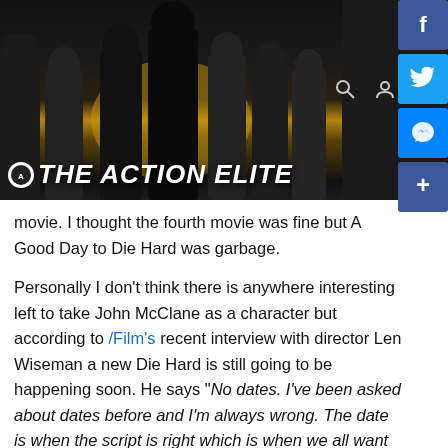[Figure (screenshot): The Action Elite website banner with dark background showing silhouetted action figures and the title 'THE ACTION ELITE' in bold white italic text, with navigation icons and social media share buttons (Facebook, Twitter, Messenger, Share)]
movie. I thought the fourth movie was fine but A Good Day to Die Hard was garbage.
Personally I don't think there is anywhere interesting left to take John McClane as a character but according to /Film's recent interview with director Len Wiseman a new Die Hard is still going to be happening soon. He says "No dates. I've been asked about dates before and I'm always wrong. The date is when the script is right which is when we all want to go. The script has taken quite a long time. I want it to be right, as everybody does. The truth is we started prepping Live Free or Die Hard when the script was not ready. That process of